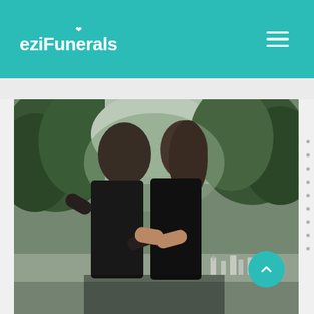eziFunerals
[Figure (photo): Two people dressed in black embracing each other at a cemetery, surrounded by trees and grave markers in the background.]